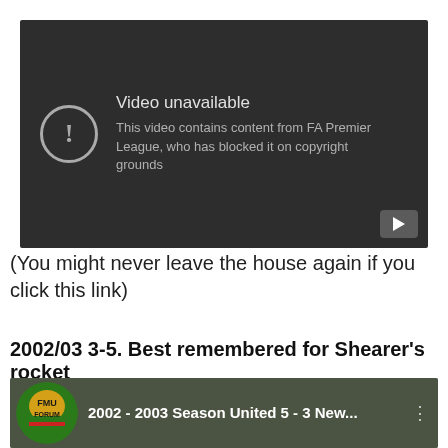[Figure (screenshot): YouTube video unavailable error screen with dark background, showing a circle with exclamation mark icon, text 'Video unavailable' and 'This video contains content from FA Premier League, who has blocked it on copyright grounds', and a YouTube play button in the bottom right corner.]
(You might never leave the house again if you click this link)
2002/03 3-5. Best remembered for Shearer's rocket
[Figure (screenshot): YouTube video thumbnail showing '2002 - 2003 Season United 5 - 3 New...' with FMU Forum logo on the left and crowd in background, with three-dot menu icon on right.]